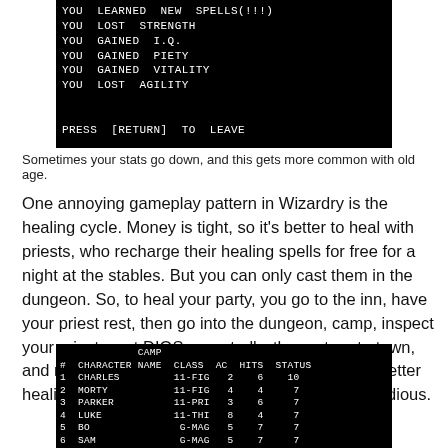[Figure (screenshot): Black terminal screen showing game stat messages: YOU LEARNED NEW SPELLS(!!!), YOU LOST STRENGTH, YOU GAINED I.Q., YOU GAINED PIETY, YOU GAINED VITALITY, YOU LOST AGILITY, and PRESS [RETURN] TO LEAVE]
Sometimes your stats go down, and this gets more common with old age.
One annoying gameplay pattern in Wizardry is the healing cycle. Money is tight, so it’s better to heal with priests, who recharge their healing spells for free for a night at the stables. But you can only cast them in the dungeon. So, to heal your party, you go to the inn, have your priest rest, then go into the dungeon, camp, inspect your priest, cast DIOS repeatedly, then return to town, and repeat. It gets less bad as your priest learns better healing spells, but never stops being somewhat tedious.
[Figure (screenshot): Black terminal CAMP screen showing party members: # CHARACTER NAME CLASS AC HITS STATUS, 1 CHARLES 11-FIG 2 6 10, 2 MORTY 11-FIG 4 4 7, 3 PARKER 11-PRI 3 6 7, 4 LUKE 11-THI 8 4 7, 5 BO G-MAG 5 7 7, 6 SAM G-MAG 5 7 7]